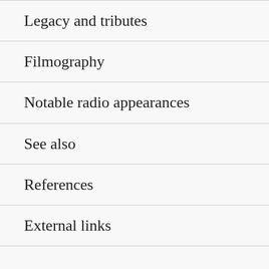Legacy and tributes
Filmography
Notable radio appearances
See also
References
External links